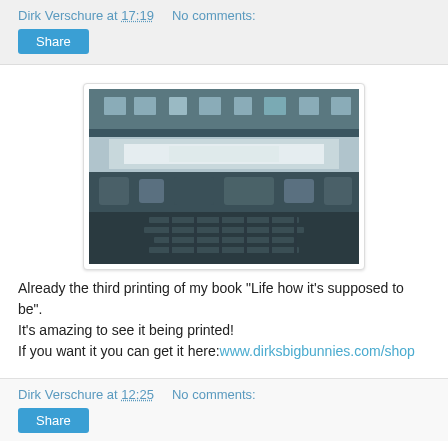Dirk Verschure at 17:19    No comments:
Share
[Figure (photo): Close-up photo of a printing press mechanism showing rollers and metal parts, printing a book.]
Already the third printing of my book "Life how it's supposed to be". It's amazing to see it being printed! If you want it you can get it here:www.dirksbigbunnies.com/shop
Dirk Verschure at 12:25    No comments:
Share